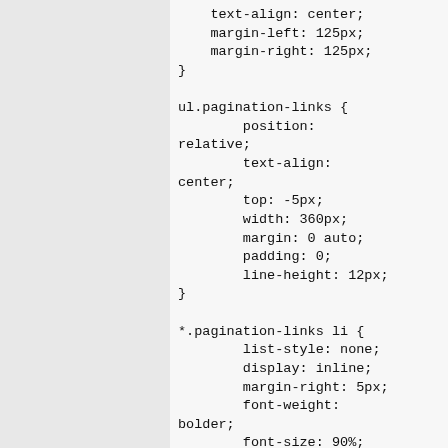text-align: center;
    margin-left: 125px;
    margin-right: 125px;
}

ul.pagination-links {
        position:
relative;
        text-align:
center;
        top: -5px;
        width: 360px;
        margin: 0 auto;
        padding: 0;
        line-height: 12px;
}

*.pagination-links li {
        list-style: none;
        display: inline;
        margin-right: 5px;
        font-weight:
bolder;
        font-size: 90%;
}